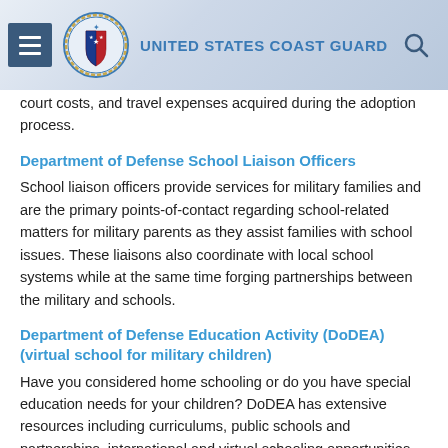United States Coast Guard
court costs, and travel expenses acquired during the adoption process.
Department of Defense School Liaison Officers
School liaison officers provide services for military families and are the primary points-of-contact regarding school-related matters for military parents as they assist families with school issues. These liaisons also coordinate with local school systems while at the same time forging partnerships between the military and schools.
Department of Defense Education Activity (DoDEA) (virtual school for military children)
Have you considered home schooling or do you have special education needs for your children? DoDEA has extensive resources including curriculums, public schools and partnerships, international and virtual schooling opportunities that will either supplement or enrich your child's educational needs.